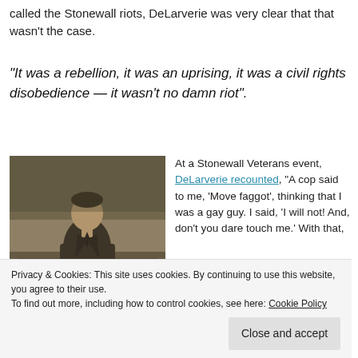called the Stonewall riots, DeLarverie was very clear that that wasn't the case.
“It was a rebellion, it was an uprising, it was a civil rights disobedience — it wasn’t no damn riot”.
[Figure (photo): Black and white / sepia photograph of a young person in a suit sitting on a bench outdoors]
At a Stonewall Veterans event, DeLarverie recounted, “A cop said to me, ‘Move faggot’, thinking that I was a gay guy. I said, ‘I will not! And, don’t you dare touch me.’ With that,
Privacy & Cookies: This site uses cookies. By continuing to use this website, you agree to their use.
To find out more, including how to control cookies, see here: Cookie Policy
Close and accept